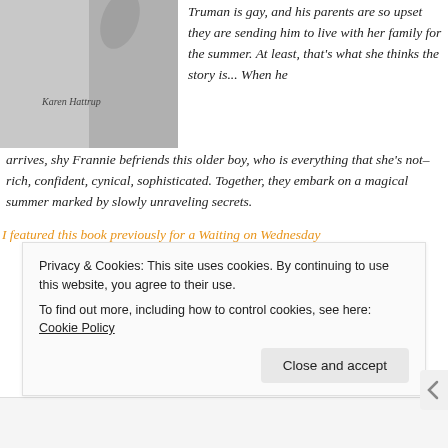[Figure (photo): Book cover showing a woman's arm raised, black and white photo, with author name 'Karen Hattrup' printed on it]
Truman is gay, and his parents are so upset they are sending him to live with her family for the summer. At least, that's what she thinks the story is... When he arrives, shy Frannie befriends this older boy, who is everything that she's not–rich, confident, cynical, sophisticated. Together, they embark on a magical summer marked by slowly unraveling secrets.
I featured this book previously for a Waiting on Wednesday
Privacy & Cookies: This site uses cookies. By continuing to use this website, you agree to their use.
To find out more, including how to control cookies, see here: Cookie Policy
Close and accept